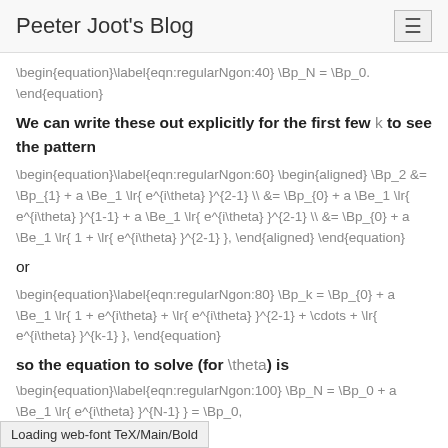Peeter Joot's Blog
We can write these out explicitly for the first few k to see the pattern
or
so the equation to solve (for \theta) is
Loading web-font TeX/Main/Bold